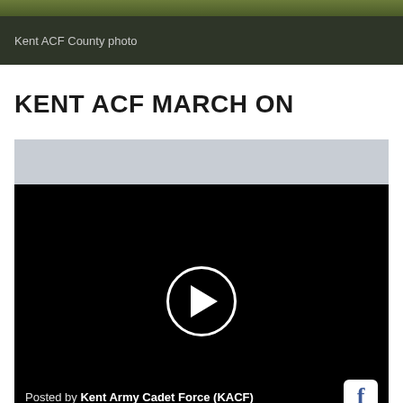Kent ACF County photo
KENT ACF MARCH ON
[Figure (screenshot): Embedded Facebook video player showing a black video frame with a white circular play button in the center. Footer text reads 'Posted by Kent Army Cadet Force (KACF)' with a Facebook icon on the right.]